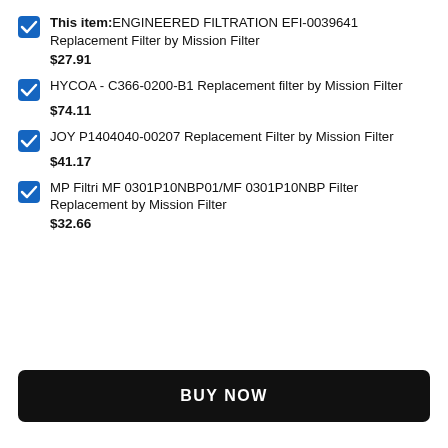This item: ENGINEERED FILTRATION EFI-0039641 Replacement Filter by Mission Filter
$27.91
HYCOA - C366-0200-B1 Replacement filter by Mission Filter
$74.11
JOY P1404040-00207 Replacement Filter by Mission Filter
$41.17
MP Filtri MF 0301P10NBP01/MF 0301P10NBP Filter Replacement by Mission Filter
$32.66
BUY NOW